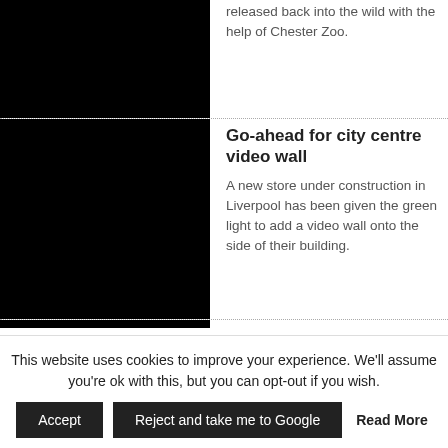[Figure (photo): Black image placeholder for partial article at top]
released back into the wild with the help of Chester Zoo.
[Figure (photo): Black image placeholder for city centre video wall article]
Go-ahead for city centre video wall
A new store under construction in Liverpool has been given the green light to add a video wall onto the side of their building.
[Figure (photo): Black image placeholder for cake bake article]
Cake bake returns for second year
A cake-baking competition to
This website uses cookies to improve your experience. We'll assume you're ok with this, but you can opt-out if you wish.